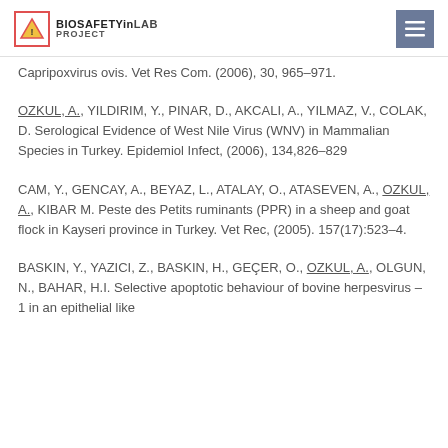BIOSAFETYinLAB PROJECT
Capripoxvirus ovis. Vet Res Com. (2006), 30, 965–971.
OZKUL, A., YILDIRIM, Y., PINAR, D., AKCALI, A., YILMAZ, V., COLAK, D. Serological Evidence of West Nile Virus (WNV) in Mammalian Species in Turkey. Epidemiol Infect, (2006), 134,826–829
CAM, Y., GENCAY, A., BEYAZ, L., ATALAY, O., ATASEVEN, A., OZKUL, A., KIBAR M. Peste des Petits ruminants (PPR) in a sheep and goat flock in Kayseri province in Turkey. Vet Rec, (2005). 157(17):523–4.
BASKIN, Y., YAZICI, Z., BASKIN, H., GEÇER, O., OZKUL, A., OLGUN, N., BAHAR, H.I. Selective apoptotic behaviour of bovine herpesvirus – 1 in an epithelial like